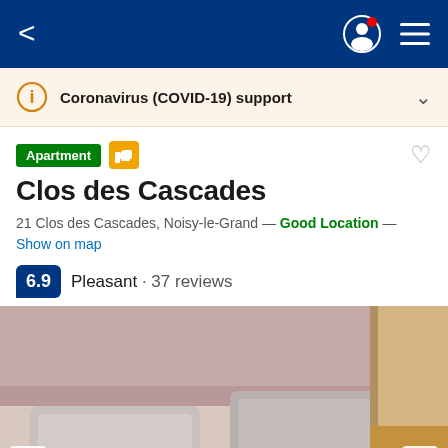< (navigation bar with user icon and menu)
Coronavirus (COVID-19) support
Apartment
Clos des Cascades
21 Clos des Cascades, Noisy-le-Grand — Good Location — Show on map
6.9 Pleasant · 37 reviews
[Figure (photo): Interior bedroom photo showing a bed with two pillows and grey bedding, wooden floor visible on the right side, pink-toned walls]